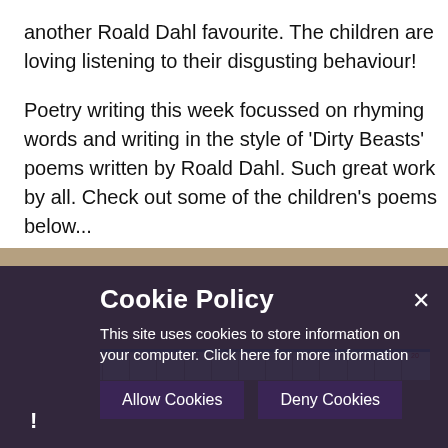another Roald Dahl favourite. The children are loving listening to their disgusting behaviour!
Poetry writing this week focussed on rhyming words and writing in the style of 'Dirty Beasts' poems written by Roald Dahl. Such great work by all. Check out some of the children's poems below...
[Figure (photo): Photo of a cardboard/brown surface with a blue-topped ruler or lined paper partially visible at the bottom]
Cookie Policy
This site uses cookies to store information on your computer. Click here for more information
Allow Cookies   Deny Cookies